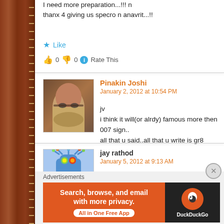I need more preparation...!!! n
thanx 4 giving us specro n anavrit...!!
★ Like
👍 0 👎 0 ℹ Rate This
Pinakin Joshi
January 2, 2012 at 10:54 PM
jv
i think it will(or alrdy) famous more then 007 sign..
all that u said..all that u write is gr8
[Figure (photo): Profile photo of Pinakin Joshi - man with glasses]
★ Like
👍 0 👎 0 ℹ Rate This
jay rathod
January 5, 2012 at 9:13 AM
hey reders, if u problem in redding gujarati blog or for...
[Figure (illustration): Cartoon blue robot avatar for jay rathod]
Advertisements
[Figure (screenshot): DuckDuckGo advertisement banner: Search, browse, and email with more privacy. All in One Free App]